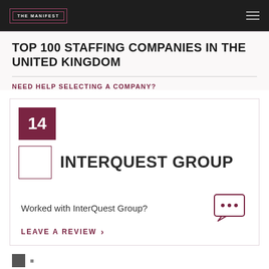THE MANIFEST
TOP 100 STAFFING COMPANIES IN THE UNITED KINGDOM
NEED HELP SELECTING A COMPANY?
14
[Figure (logo): InterQuest Group company logo placeholder box with dark red border]
INTERQUEST GROUP
Worked with InterQuest Group?
LEAVE A REVIEW >